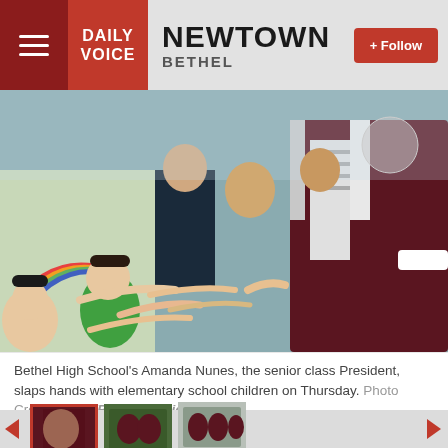NEWTOWN / BETHEL — Daily Voice
[Figure (photo): Bethel High School senior class president in graduation robe high-fiving/slapping hands with elementary school children in a school hallway]
Bethel High School's Amanda Nunes, the senior class President, slaps hands with elementary school children on Thursday. Photo Credit: Flickr/Bethel Public Schools
[Figure (photo): Thumbnail gallery of three images showing graduation scenes]